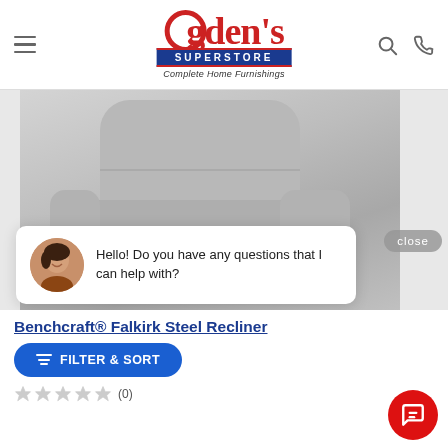[Figure (screenshot): Ogden's Superstore website header with logo, hamburger menu, search and phone icons]
[Figure (photo): Gray upholstered recliner chair product photo on light gray background, partially cropped showing upper portion of chair]
close
Hello! Do you have any questions that I can help with?
Benchcraft® Falkirk Steel Recliner
FILTER & SORT
(0)